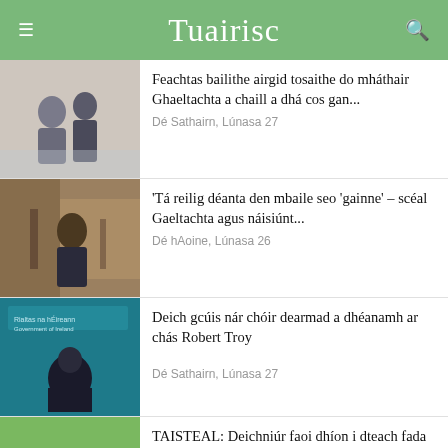Tuairisc
Feachtas bailithe airgid tosaithe do mháthair Ghaeltachta a chaill a dhá cos gan... Dé Sathairn, Lúnasa 27
'Tá reilig déanta den mbaile seo 'gainne' – scéal Gaeltachta agus náisiúnt... Dé hAoine, Lúnasa 26
Deich gcúis nár chóir dearmad a dhéanamh ar chás Robert Troy Dé Sathairn, Lúnasa 27
TAISTEAL: Deichniúr faoi dhíon i dteach fada cloiche sa Dordogne Dé hAoine, Lúnasa 26
Teip Stormont straitéis don Ghaeilge a thabhairt i gcrích...